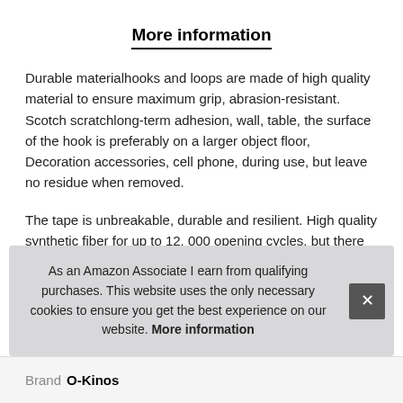More information
Durable materialhooks and loops are made of high quality material to ensure maximum grip, abrasion-resistant. Scotch scratchlong-term adhesion, wall, table, the surface of the hook is preferably on a larger object floor, Decoration accessories, cell phone, during use, but leave no residue when removed.
The tape is unbreakable, durable and resilient. High quality synthetic fiber for up to 12, 000 opening cycles, but there will be no residue. Widely usedideal replacement for screws, bolts or epoxy for applications where you constantly have to remove and labe outc
As an Amazon Associate I earn from qualifying purchases. This website uses the only necessary cookies to ensure you get the best experience on our website. More information
| Brand |  |
| --- | --- |
| Brand | O-Kinos |